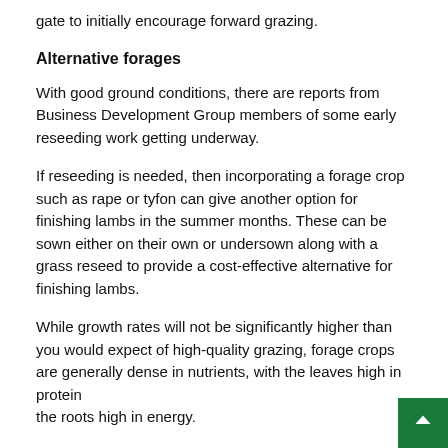gate to initially encourage forward grazing.
Alternative forages
With good ground conditions, there are reports from Business Development Group members of some early reseeding work getting underway.
If reseeding is needed, then incorporating a forage crop such as rape or tyfon can give another option for finishing lambs in the summer months. These can be sown either on their own or undersown along with a grass reseed to provide a cost-effective alternative for finishing lambs.
While growth rates will not be significantly higher than you would expect of high-quality grazing, forage crops are generally dense in nutrients, with the leaves high in protein the roots high in energy.